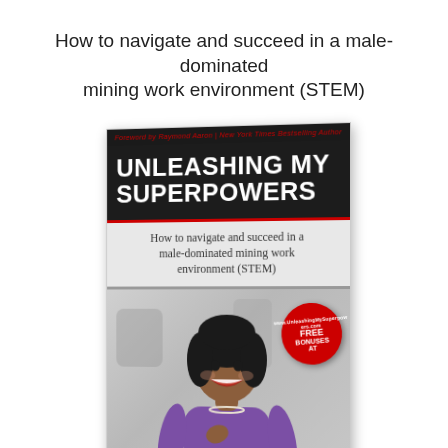How to navigate and succeed in a male-dominated mining work environment (STEM)
[Figure (photo): Book cover of 'Unleashing My Superpowers: How to navigate and succeed in a male-dominated mining work environment (STEM)'. Foreword by Raymond Aaron, New York Times Bestselling Author. Cover shows a smiling Black woman in a purple top with pearl necklace. Red circular badge reads FREE BONUSES AT www.UnleashingMySuperpowers.com. Book is shown in 3D perspective with visible spine.]